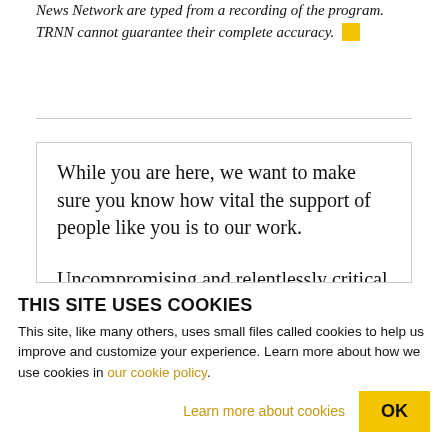News Network are typed from a recording of the program. TRNN cannot guarantee their complete accuracy.
While you are here, we want to make sure you know how vital the support of people like you is to our work.
Uncompromising and relentlessly critical journalism that gets to the roots of the crises we
THIS SITE USES COOKIES
This site, like many others, uses small files called cookies to help us improve and customize your experience. Learn more about how we use cookies in our cookie policy.
Learn more about cookies
OK